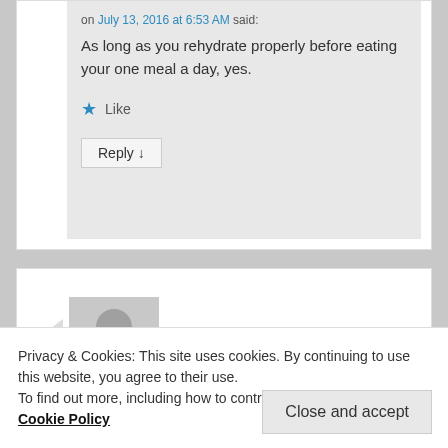on July 13, 2016 at 6:53 AM said:
As long as you rehydrate properly before eating your one meal a day, yes.
★ Like
Reply ↓
[Figure (photo): Default user avatar placeholder (grey silhouette of a person)]
Privacy & Cookies: This site uses cookies. By continuing to use this website, you agree to their use.
To find out more, including how to control cookies, see here: Cookie Policy
Close and accept